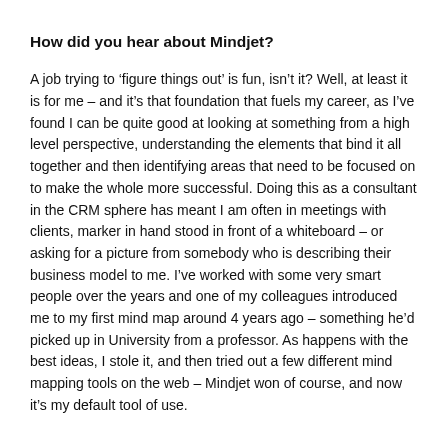How did you hear about Mindjet?
A job trying to ‘figure things out’ is fun, isn’t it? Well, at least it is for me – and it’s that foundation that fuels my career, as I’ve found I can be quite good at looking at something from a high level perspective, understanding the elements that bind it all together and then identifying areas that need to be focused on to make the whole more successful. Doing this as a consultant in the CRM sphere has meant I am often in meetings with clients, marker in hand stood in front of a whiteboard – or asking for a picture from somebody who is describing their business model to me. I’ve worked with some very smart people over the years and one of my colleagues introduced me to my first mind map around 4 years ago – something he’d picked up in University from a professor. As happens with the best ideas, I stole it, and then tried out a few different mind mapping tools on the web – Mindjet won of course, and now it’s my default tool of use.